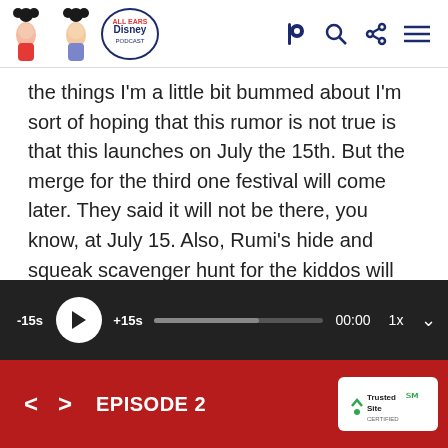All Ears Disney Podcast - logo and navigation icons
the things I'm a little bit bummed about I'm sort of hoping that this rumor is not true is that this launches on July the 15th. But the merge for the third one festival will come later. They said it will not be there, you know, at July 15. Also, Rumi's hide and squeak scavenger hunt for the kiddos will also not be there on July 15. I'm not concerned with that. But those with kiddos
[Figure (screenshot): Audio player bar with -15s, play button, +15s, progress bar, 00:00 timestamp, and 1x speed control on dark background]
[Figure (screenshot): Episode navigation bar in red with back/forward arrows, EPISODE 2 label, and TrustedSite badge]